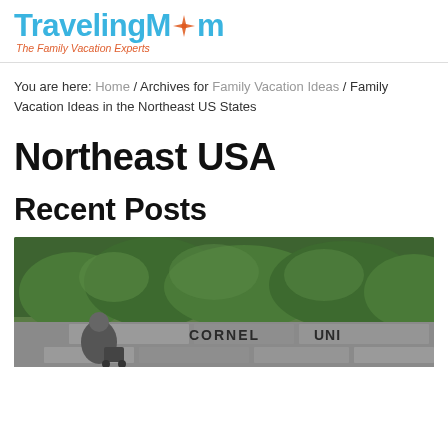TravelingMom — The Family Vacation Experts
You are here: Home / Archives for Family Vacation Ideas / Family Vacation Ideas in the Northeast US States
Northeast USA
Recent Posts
[Figure (photo): Outdoor photo of a person in front of the Cornell University stone entrance sign, surrounded by lush green trees]